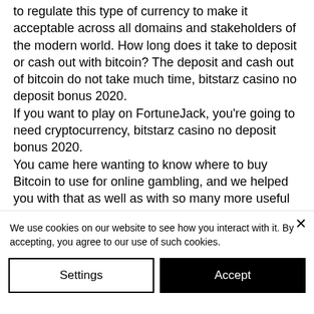to regulate this type of currency to make it acceptable across all domains and stakeholders of the modern world. How long does it take to deposit or cash out with bitcoin? The deposit and cash out of bitcoin do not take much time, bitstarz casino no deposit bonus 2020. If you want to play on FortuneJack, you're going to need cryptocurrency, bitstarz casino no deposit bonus 2020. You came here wanting to know where to buy Bitcoin to use for online gambling, and we helped you with that as well as with so many more useful things you should know. The only thing left for us to do is to wish you
We use cookies on our website to see how you interact with it. By accepting, you agree to our use of such cookies.